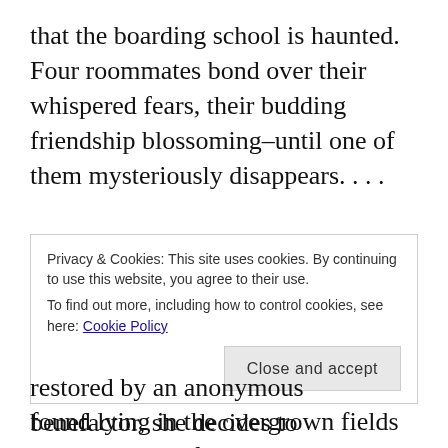that the boarding school is haunted. Four roommates bond over their whispered fears, their budding friendship blossoming–until one of them mysteriously disappears. . . .
Vermont, 2014. As much as she's tried, journalist Fiona Sheridan cannot stop revisiting the events surrounding her older sister's death. Twenty years ago, her body was found lying in the overgrown fields near the ruins of Idlewild Hall. And though her sister's boyfriend was tried and convicted of murder, Fiona can't shake the
Privacy & Cookies: This site uses cookies. By continuing to use this website, you agree to their use. To find out more, including how to control cookies, see here: Cookie Policy
Close and accept
restored by an anonymous benefactor, she decides to